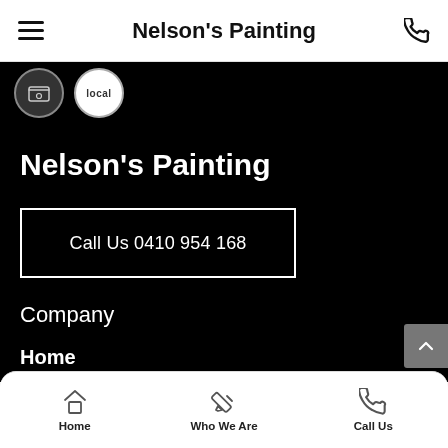Nelson's Painting
[Figure (screenshot): Mobile website screenshot for Nelson's Painting showing navigation bar, business logo area with circular badges, large business name, call button, company section, and bottom navigation bar]
Nelson's Painting
Call Us 0410 954 168
Company
Home
Home   Who We Are   Call Us